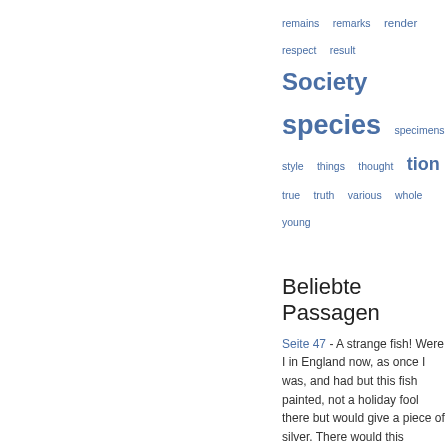[Figure (infographic): Tag cloud of words in blue, varying font sizes: remains, remarks, render, respect, result, Society, species, specimens, style, things, thought, tion, true, truth, various, whole, young]
Beliebte Passagen
Seite 47 - A strange fish! Were I in England now, as once I was, and had but this fish painted, not a holiday fool there but would give a piece of silver. There would this monster make a man. Any strange beast there makes a man. When they will not give a doit to